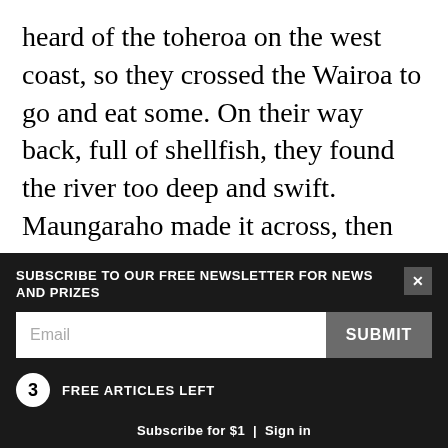heard of the toheroa on the west coast, so they crossed the Wairoa to go and eat some. On their way back, full of shellfish, they found the river too deep and swift. Maungaraho made it across, then Tokatoka. Te Kewi-pahutai only just made it to the eastern bank, where he now sits with feet dangling in the water. Sadly, o Kiriahi didn't—he drowned, and is now a reef. Seeing this, Motuwheteke decided not to cross and risk drowning, so he stayed on the western bank. So the two older brothers, Maungaraho and Tokatoka, elected to stay and wait until the last
SUBSCRIBE TO OUR FREE NEWSLETTER FOR NEWS AND PRIZES
Email
SUBMIT
3 FREE ARTICLES LEFT
Subscribe for $1 | Sign in